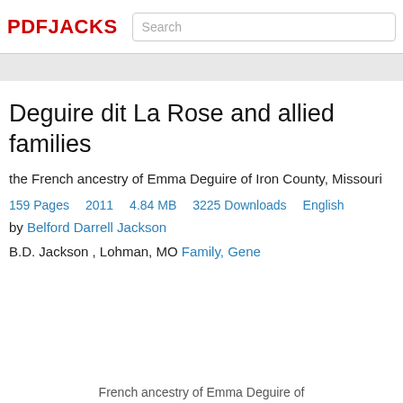PDFJACKS | Search
Deguire dit La Rose and allied families
the French ancestry of Emma Deguire of Iron County, Missouri
159 Pages   2011   4.84 MB   3225 Downloads   English
by Belford Darrell Jackson
B.D. Jackson , Lohman, MO Family, Gene
French ancestry of Emma Deguire of